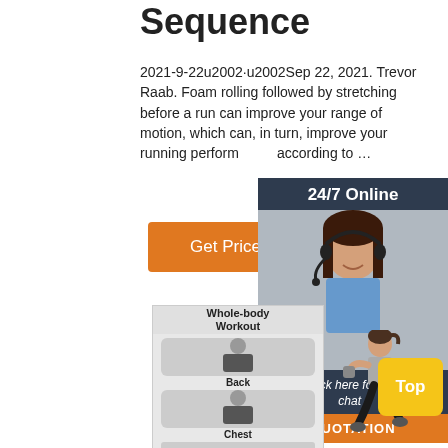Sequence
2021-9-22u2002·u2002Sep 22, 2021. Trevor Raab. Foam rolling followed by stretching before a run can improve your range of motion, which can, in turn, improve your running performance, according to …
[Figure (other): Orange 'Get Price' button]
[Figure (other): 24/7 Online chat widget with customer service representative photo, 'Click here for free chat!' text, and QUOTATION button]
[Figure (other): Whole-body Workout fitness image with sections labeled Back and Chest]
[Figure (other): Running/boxing woman silhouette illustration]
[Figure (other): Yellow 'Top' button]